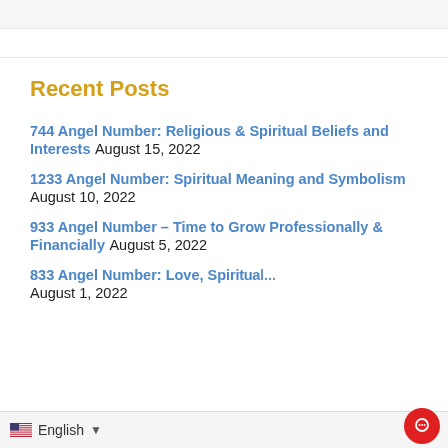Recent Posts
744 Angel Number: Religious & Spiritual Beliefs and Interests August 15, 2022
1233 Angel Number: Spiritual Meaning and Symbolism August 10, 2022
933 Angel Number – Time to Grow Professionally & Financially August 5, 2022
833 Angel Number: Love, Spi... August 1, 2022